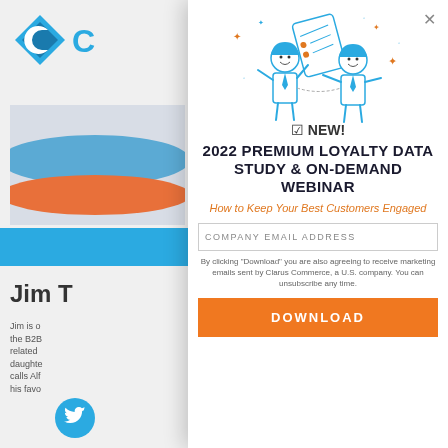[Figure (screenshot): Partially visible website background with logo, banner image with blue wave and orange stripe, blue navigation bar, name 'Jim T', bio text, and Twitter icon]
[Figure (illustration): Two cartoon business figures exchanging a document/checklist, with decorative stars and sparkles around them, drawn in blue outline style with orange accent stars]
🗹 NEW!
2022 PREMIUM LOYALTY DATA STUDY & ON-DEMAND WEBINAR
How to Keep Your Best Customers Engaged
COMPANY EMAIL ADDRESS
By clicking "Download" you are also agreeing to receive marketing emails sent by Clarus Commerce, a U.S. company. You can unsubscribe any time.
DOWNLOAD